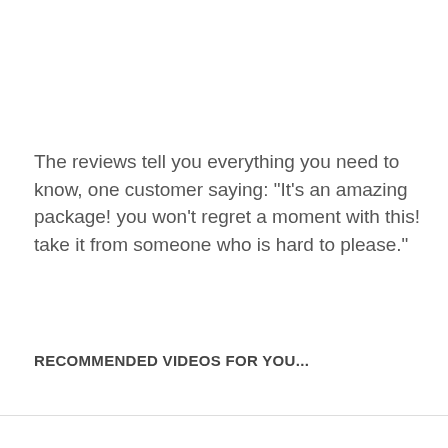The reviews tell you everything you need to know, one customer saying: "It's an amazing package! you won't regret a moment with this! take it from someone who is hard to please."
RECOMMENDED VIDEOS FOR YOU...